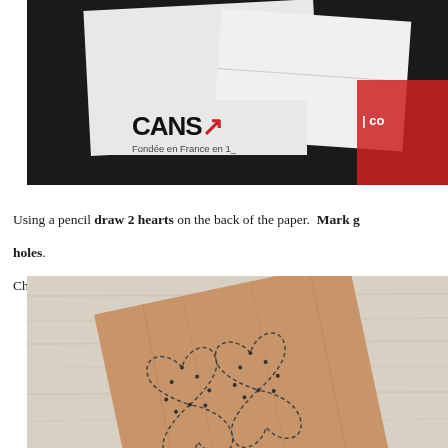[Figure (photo): Photo of Canson paper products and envelopes on a dark background. The Canson brand name and text 'Fondée en France en 1...' are visible.]
Using a pencil draw 2 hearts on the back of the paper.  Mark g... holes.
Choose two contrast-coloured threads (red and pink work well)
[Figure (photo): Photo of a brown paper bag lying on a light wooden surface with two overlapping heart shapes drawn on it in pencil, with dots marking the sewing holes along the heart outlines.]